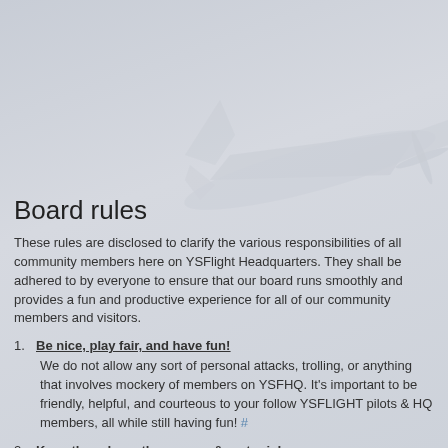[Figure (illustration): Faded background illustration of a propeller aircraft viewed from below/side, in light gray tones blending into the page background.]
Board rules
These rules are disclosed to clarify the various responsibilities of all community members here on YSFlight Headquarters. They shall be adhered to by everyone to ensure that our board runs smoothly and provides a fun and productive experience for all of our community members and visitors.
1. Be nice, play fair, and have fun!
We do not allow any sort of personal attacks, trolling, or anything that involves mockery of members on YSFHQ. It's important to be friendly, helpful, and courteous to your follow YSFLIGHT pilots & HQ members, all while still having fun! #
2. Keep threads on the runway & on topic!
Try your best to post meaningful and helpful contributions to forum threads and keep them on topic of what is being discussed. Also, try not to revive old threads from months gone by. Sometimes, it may be best to create a new thread. Think before you post! #